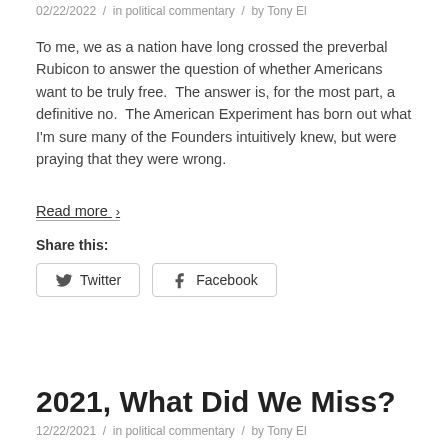02/22/2022  /  in political commentary  /  by Tony El
To me, we as a nation have long crossed the preverbal Rubicon to answer the question of whether Americans want to be truly free.  The answer is, for the most part, a definitive no.  The American Experiment has born out what I'm sure many of the Founders intuitively knew, but were praying that they were wrong.
Read more >
Share this:
Twitter   Facebook
2021, What Did We Miss?
12/22/2021  /  in political commentary  /  by Tony El